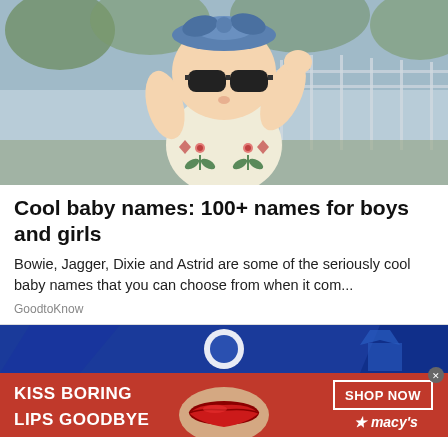[Figure (photo): Baby wearing sunglasses and a blue headband, dressed in a light yellow floral romper, posing outdoors with one hand raised to sunglasses]
Cool baby names: 100+ names for boys and girls
Bowie, Jagger, Dixie and Astrid are some of the seriously cool baby names that you can choose from when it com...
GoodtoKnow
[Figure (photo): Advertisement banner: Red background with white bold text reading KISS BORING LIPS GOODBYE on the left, close-up of woman's face with red lips in center, SHOP NOW button and Macy's logo with star on the right. Blue decorative background at top.]